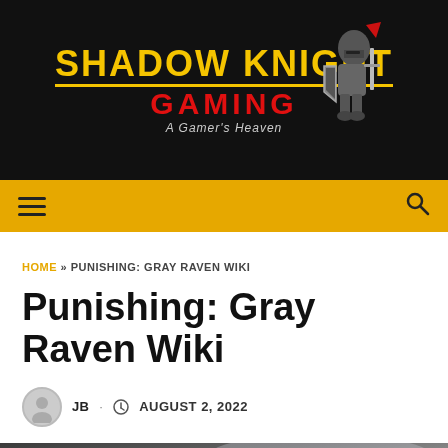[Figure (logo): Shadow Knight Gaming logo with knight illustration on black background. Yellow text 'SHADOW KNIGHT' with red 'GAMING' below and tagline 'A Gamer's Heaven']
Navigation bar with hamburger menu and search icon on gold/amber background
HOME » PUNISHING: GRAY RAVEN WIKI
Punishing: Gray Raven Wiki
JB · AUGUST 2, 2022
[Figure (photo): Partial game screenshot at bottom of page with watermark 'shadowknightgaming.com']